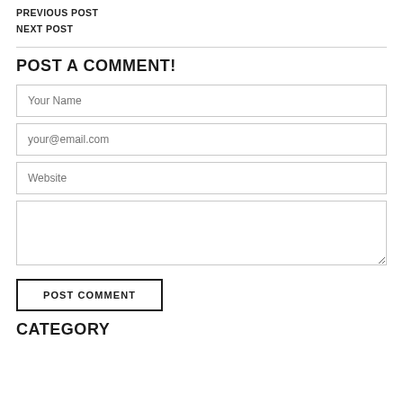PREVIOUS POST
NEXT POST
POST A COMMENT!
Your Name
your@email.com
Website
POST COMMENT
CATEGORY